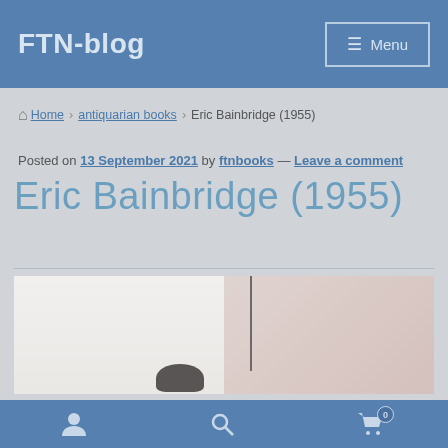FTN-blog
Home › antiquarian books › Eric Bainbridge (1955)
Posted on 13 September 2021 by ftnbooks — Leave a comment
Eric Bainbridge (1955)
[Figure (photo): Partial view of a book cover or photograph showing a blurred image with a vertical line and a person's head silhouette at the bottom left]
User icon, Search icon, Cart icon (0)